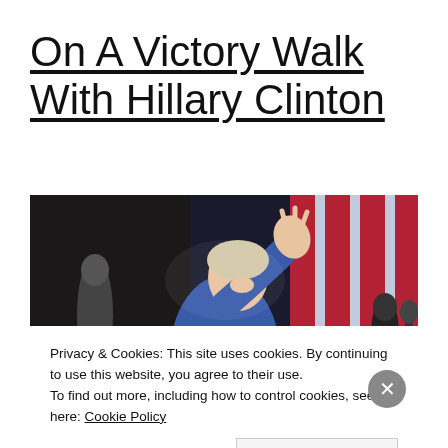On A Victory Walk With Hillary Clinton
[Figure (photo): Hillary Clinton in a blue jacket waving to a crowd, smiling, with an American flag visible in the background]
Privacy & Cookies: This site uses cookies. By continuing to use this website, you agree to their use.
To find out more, including how to control cookies, see here: Cookie Policy
Close and accept